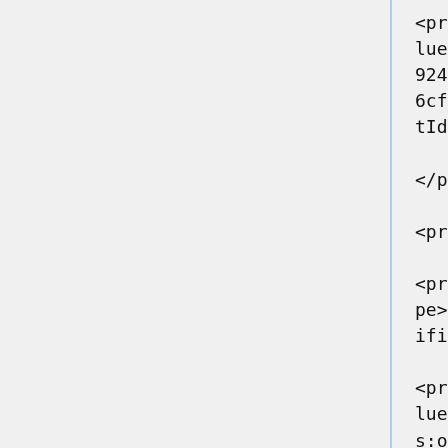<premis:objectIdentifierValue>20e7a918-67e9-4717-924f-6cfd75be3b77</premis:objectIdentifierValue>

</premis:objectIdentifier>

<premis:objectIdentifier>

<premis:objectIdentifierType>DOI</premis:objectIdentifierType>

<premis:objectIdentifierValue>doi:10.1000/182</premis:objectIdentifierValue>

</premis:objectIdentifier>

<premis:originalName>Application of Magnetic Susceptibility within Crystalline